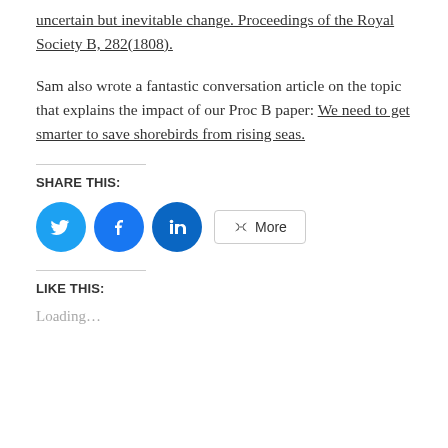uncertain but inevitable change. Proceedings of the Royal Society B, 282(1808).
Sam also wrote a fantastic conversation article on the topic that explains the impact of our Proc B paper: We need to get smarter to save shorebirds from rising seas.
SHARE THIS:
[Figure (infographic): Social share buttons: Twitter (blue bird icon), Facebook (blue f icon), LinkedIn (blue in icon), and a More button with share icon]
LIKE THIS:
Loading...